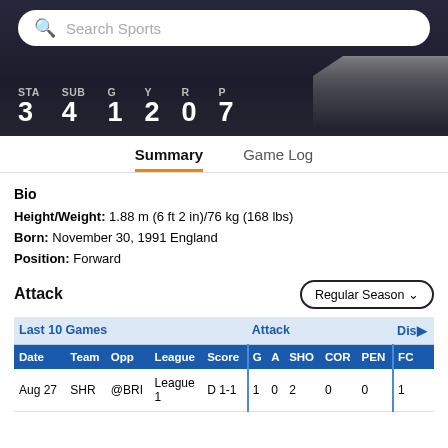[Figure (screenshot): Search bar with purple magnifying glass icon and placeholder text 'Search Sports']
| STA | SUB | G | Y | R | P |
| --- | --- | --- | --- | --- | --- |
| 3 | 4 | 1 | 2 | 0 | 7 |
Summary
Game Log
Bio
Height/Weight: 1.88 m (6 ft 2 in)/76 kg (168 lbs)
Born: November 30, 1991 England
Position: Forward
Attack
| Date | Team | Opp | League | Score | G | A | SHO | COR | PEN | FC |
| --- | --- | --- | --- | --- | --- | --- | --- | --- | --- | --- |
| Aug 27 | SHR | @BRI | League 1 | D 1-1 | 1 | 0 | 2 | 0 | 0 | 1 |